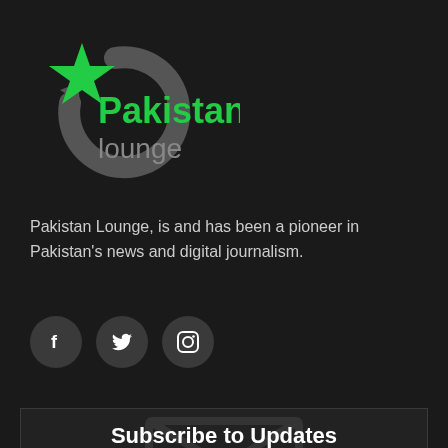[Figure (logo): Pakistan Lounge logo with green star and circular arrow graphic in grey, with 'Pakistan' in green bold text and 'lounge' in grey below]
Pakistan Lounge, is and has been a pioneer in Pakistan's news and digital journalism.
[Figure (infographic): Three circular dark grey social media buttons: Facebook (f), Twitter (bird), Instagram (camera)]
Subscribe to Updates
Get the latest news from Pakistan Lounge